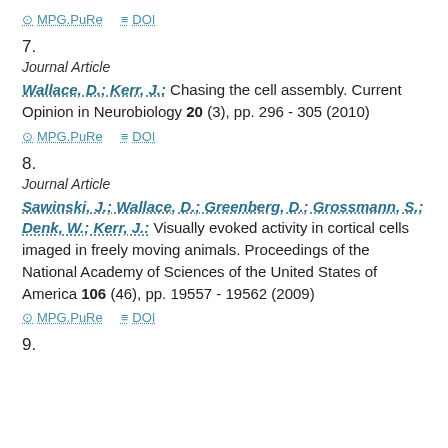MPG.PuRe   DOI
7.
Journal Article
Wallace, D.; Kerr, J.: Chasing the cell assembly. Current Opinion in Neurobiology 20 (3), pp. 296 - 305 (2010)
MPG.PuRe   DOI
8.
Journal Article
Sawinski, J.; Wallace, D.; Greenberg, D.; Grossmann, S.; Denk, W.; Kerr, J.: Visually evoked activity in cortical cells imaged in freely moving animals. Proceedings of the National Academy of Sciences of the United States of America 106 (46), pp. 19557 - 19562 (2009)
MPG.PuRe   DOI
9.